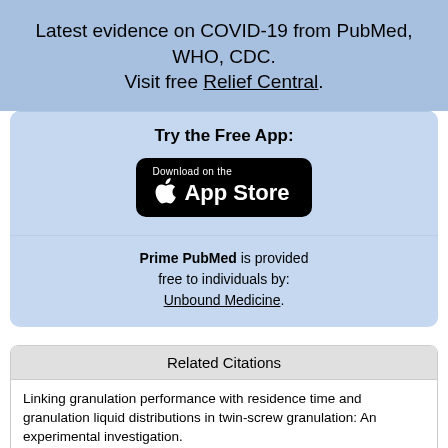Latest evidence on COVID-19 from PubMed, WHO, CDC. Visit free Relief Central.
Try the Free App:
[Figure (other): Download on the App Store button with Apple logo]
Prime PubMed is provided free to individuals by: Unbound Medicine.
Related Citations
Linking granulation performance with residence time and granulation liquid distributions in twin-screw granulation: An experimental investigation.
Mixing and transport during pharmaceutical twin-screw wet granulation: experimental analysis via chemical imaging.
Twin screw wet granulation: the study of a continuous twin screw granulator using Positron Emission Particle Tracking (PEPT) technique.